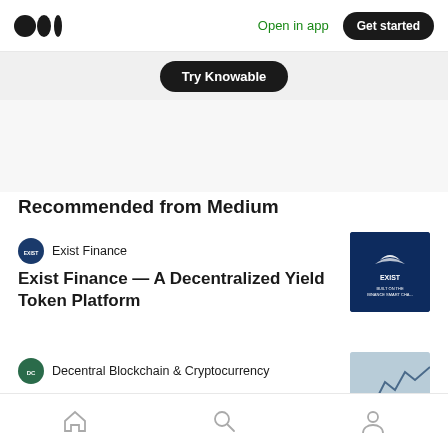Medium — Open in app — Get started
Try Knowable
Recommended from Medium
Exist Finance
Exist Finance — A Decentralized Yield Token Platform
Decentral Blockchain & Cryptocurrency
Plan your exit: How to place profit targets
Home — Search — Profile